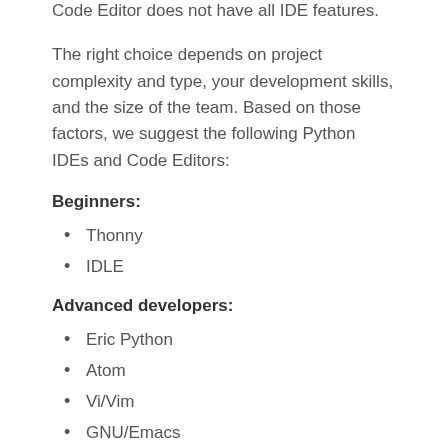Code Editor does not have all IDE features.
The right choice depends on project complexity and type, your development skills, and the size of the team. Based on those factors, we suggest the following Python IDEs and Code Editors:
Beginners:
Thonny
IDLE
Advanced developers:
Eric Python
Atom
Vi/Vim
GNU/Emacs
Scientific computing projects: